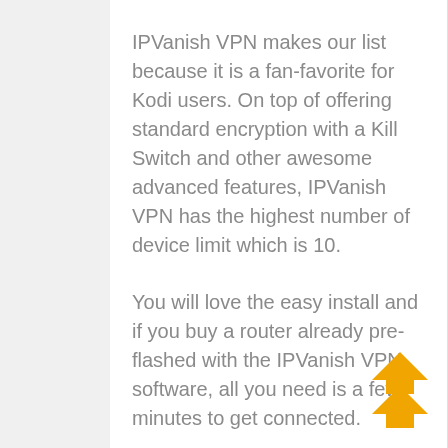IPVanish VPN makes our list because it is a fan-favorite for Kodi users. On top of offering standard encryption with a Kill Switch and other awesome advanced features, IPVanish VPN has the highest number of device limit which is 10.
You will love the easy install and if you buy a router already pre-flashed with the IPVanish VPN software, all you need is a few minutes to get connected.
IPVanish VPN does not have Live Chat but you will have sufficient email support and numerous guides to help you along.
[Figure (illustration): Orange double upward-pointing arrow icon in bottom-right corner]